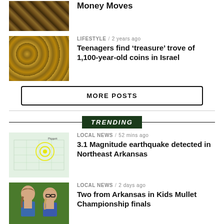Money Moves
[Figure (photo): Top article thumbnail - partial image at top]
LIFESTYLE / 2 years ago
Teenagers find ‘treasure’ trove of 1,100-year-old coins in Israel
[Figure (photo): Gold coins pile]
MORE POSTS
TRENDING
LOCAL NEWS / 52 mins ago
3.1 Magnitude earthquake detected in Northeast Arkansas
[Figure (map): Earthquake map of Northeast Arkansas]
LOCAL NEWS / 2 days ago
Two from Arkansas in Kids Mullet Championship finals
[Figure (photo): Two kids with mullet hairstyles]